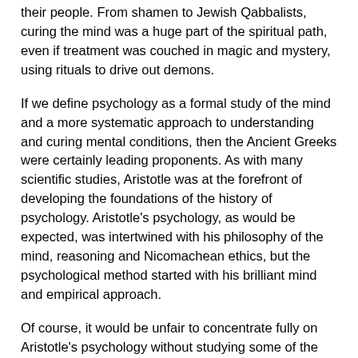their people. From shamen to Jewish Qabbalists, curing the mind was a huge part of the spiritual path, even if treatment was couched in magic and mystery, using rituals to drive out demons.
If we define psychology as a formal study of the mind and a more systematic approach to understanding and curing mental conditions, then the Ancient Greeks were certainly leading proponents. As with many scientific studies, Aristotle was at the forefront of developing the foundations of the history of psychology. Aristotle's psychology, as would be expected, was intertwined with his philosophy of the mind, reasoning and Nicomachean ethics, but the psychological method started with his brilliant mind and empirical approach.
Of course, it would be unfair to concentrate fully on Aristotle's psychology without studying some of the other great thinkers who contributed to the history of psychology.